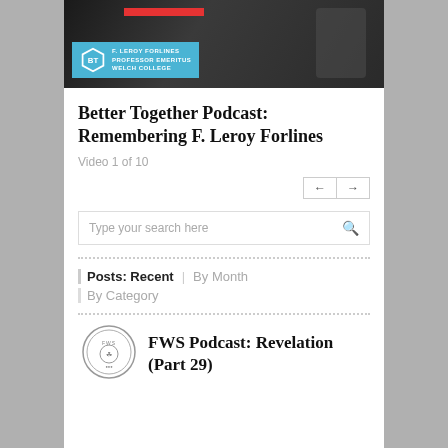[Figure (screenshot): Video thumbnail showing F. Leroy Forlines, Professor Emeritus, Welch College, with BT logo hexagon and blue overlay banner, red bar accent]
Better Together Podcast: Remembering F. Leroy Forlines
Video 1 of 10
← →
Type your search here
Posts: Recent | By Month
By Category
[Figure (logo): FWS circular seal/emblem logo]
FWS Podcast: Revelation (Part 29)